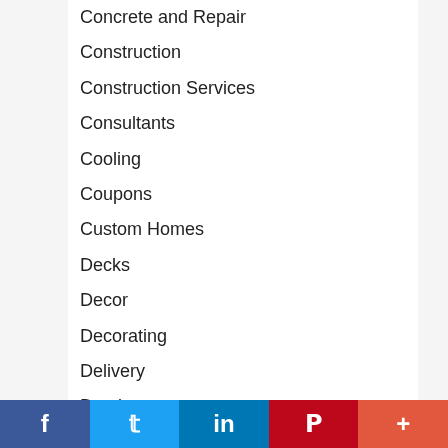Concrete and Repair
Construction
Construction Services
Consultants
Cooling
Coupons
Custom Homes
Decks
Decor
Decorating
Delivery
Dentist
Digital
Digital Advertising
f  t  in  P  +